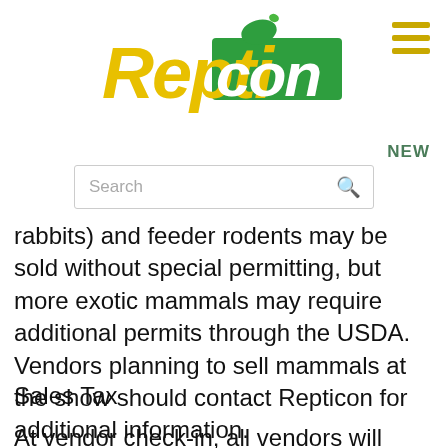[Figure (logo): Repticon logo with gecko and stylized text in yellow and green]
NEW
Search
rabbits) and feeder rodents may be sold without special permitting, but more exotic mammals may require additional permits through the USDA. Vendors planning to sell mammals at the show should contact Repticon for additional information.
Sales Tax
At vendor check-in, all vendors will receive a